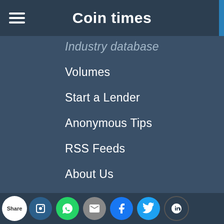Coin times
Industry database
Volumes
Start a Lender
Anonymous Tips
RSS Feeds
About Us
Subscribe
Home
Jobs
News